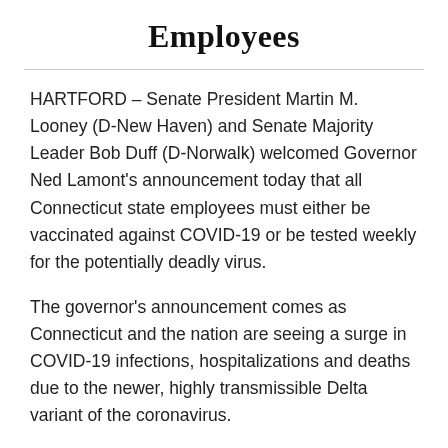Employees
HARTFORD – Senate President Martin M. Looney (D-New Haven) and Senate Majority Leader Bob Duff (D-Norwalk) welcomed Governor Ned Lamont's announcement today that all Connecticut state employees must either be vaccinated against COVID-19 or be tested weekly for the potentially deadly virus.
The governor's announcement comes as Connecticut and the nation are seeing a surge in COVID-19 infections, hospitalizations and deaths due to the newer, highly transmissible Delta variant of the coronavirus.